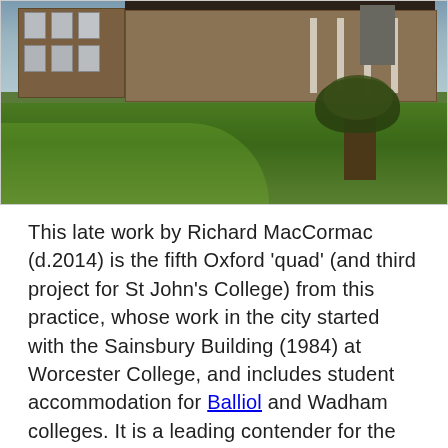[Figure (photo): Exterior photograph of a low-rise modern brick building complex with large windows and columns, surrounded by grass lawn with a large tree, set against a grey-blue sky. Appears to be St John's College Oxford.]
This late work by Richard MacCormac (d.2014) is the fifth Oxford 'quad' (and third project for St John's College) from this practice, whose work in the city started with the Sainsbury Building (1984) at Worcester College, and includes student accommodation for Balliol and Wadham colleges. It is a leading contender for the finest building in Oxford of this century. The quad is open to the south and centred on a massive beech tree, which also aligns with the entrance from St Giles. The general arrangement is three floors of student rooms and fellows accommodation